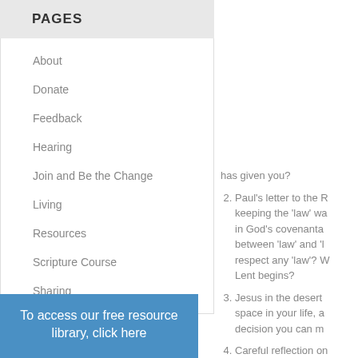PAGES
About
Donate
Feedback
Hearing
Join and Be the Change
Living
Resources
Scripture Course
Sharing
To access our free resource library, click here
has given you?
Paul's letter to the R... keeping the 'law' wa... in God's covenanta... between 'law' and 'l... respect any 'law'? W... Lent begins?
Jesus in the desert ... space in your life, a... decision you can m...
Careful reflection on... evil. Get bread for 's... Almsgiving are prac...